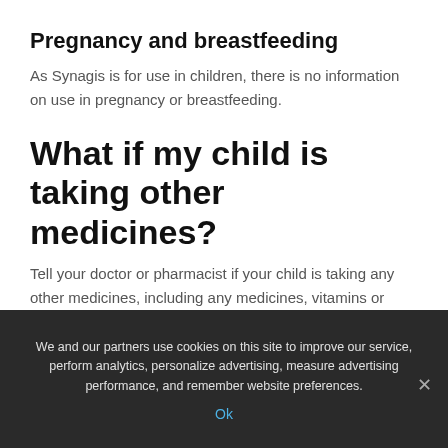Pregnancy and breastfeeding
As Synagis is for use in children, there is no information on use in pregnancy or breastfeeding.
What if my child is taking other medicines?
Tell your doctor or pharmacist if your child is taking any other medicines, including any medicines, vitamins or supplements that you buy without a prescription from your pharmacy, supermarket or health food shop.
We and our partners use cookies on this site to improve our service, perform analytics, personalize advertising, measure advertising performance, and remember website preferences.
Ok